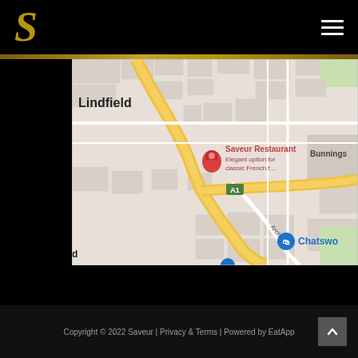S (Saveur logo) with hamburger menu
[Figure (map): Google Maps screenshot showing Saveur Restaurant location near Lindfield and Chatswood area. A red pin marks 'Saveur Restaurant - Elegant option for classic French f...' with A1 road visible. Archer St runs south toward Chatswood (blue shopping icon). Bunnings store visible to the right.]
Copyright © 2022 Saveur | Privacy & Terms | Powered by EatApp